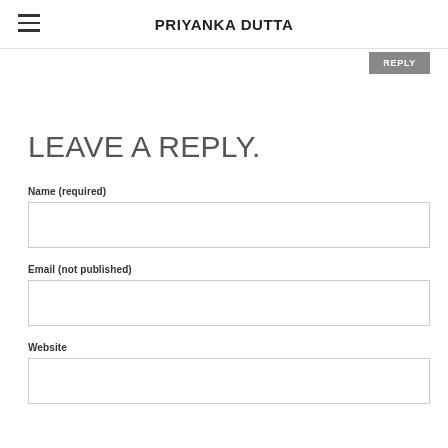PRIYANKA DUTTA
REPLY
LEAVE A REPLY.
Name (required)
Email (not published)
Website